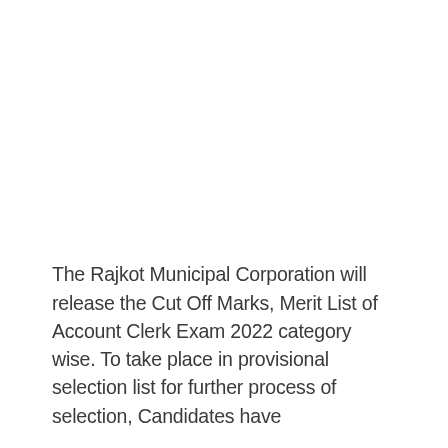The Rajkot Municipal Corporation will release the Cut Off Marks, Merit List of Account Clerk Exam 2022 category wise. To take place in provisional selection list for further process of selection, Candidates have